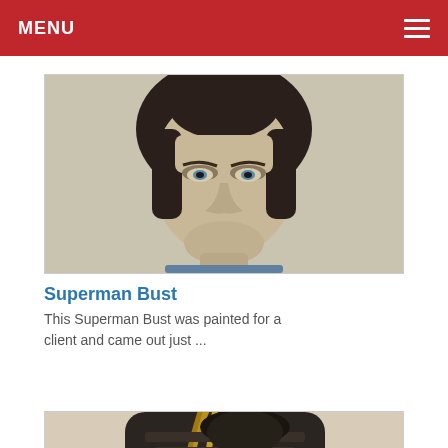MENU
[Figure (photo): Close-up photo of a Superman bust miniature figurine showing the face with dark hair and detailed paintwork]
Superman Bust
This Superman Bust was painted for a client and came out just ...
[Figure (photo): Partial photo of a second miniature figurine, showing a dark armored character with braided hair from behind/side]